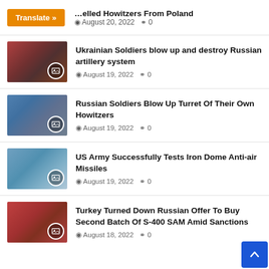…elled Howitzers From Poland — August 20, 2022  0
Ukrainian Soldiers blow up and destroy Russian artillery system — August 19, 2022  0
Russian Soldiers Blow Up Turret Of Their Own Howitzers — August 19, 2022  0
US Army Successfully Tests Iron Dome Anti-air Missiles — August 19, 2022  0
Turkey Turned Down Russian Offer To Buy Second Batch Of S-400 SAM Amid Sanctions — August 18, 2022  0